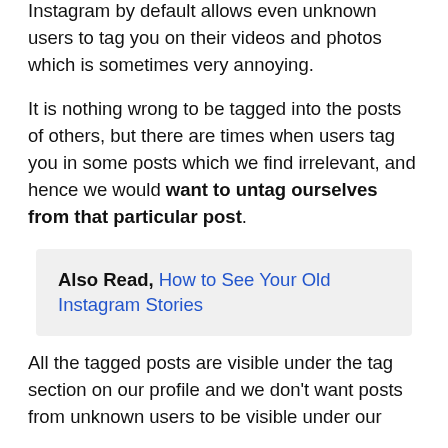Instagram by default allows even unknown users to tag you on their videos and photos which is sometimes very annoying.
It is nothing wrong to be tagged into the posts of others, but there are times when users tag you in some posts which we find irrelevant, and hence we would want to untag ourselves from that particular post.
Also Read, How to See Your Old Instagram Stories
All the tagged posts are visible under the tag section on our profile and we don't want posts from unknown users to be visible under our profile.